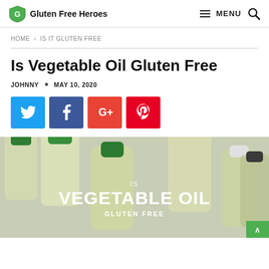Gluten Free Heroes — MENU
HOME > IS IT GLUTEN FREE
Is Vegetable Oil Gluten Free
JOHNNY • MAY 10, 2020
[Figure (infographic): Social share buttons: Twitter (blue), Facebook (dark blue), Google+ (red-orange), Pinterest (red)]
[Figure (photo): Hero image of multiple vegetable oil bottles filled with clear yellow oil, with text overlay reading IS VEGETABLE OIL GLUTEN FREE]